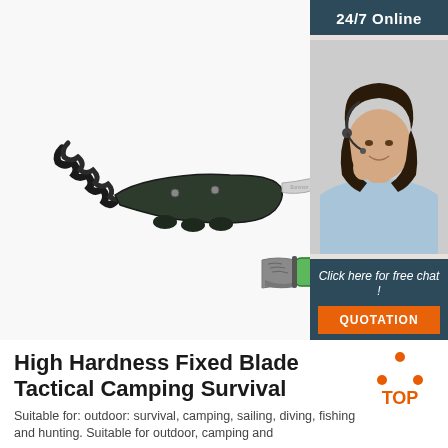[Figure (photo): Two tactical/survival knives shown against white background: top knife has braided black paracord handle attachment and a dark curved multi-finger grip handle with silver blade tip; bottom knife has a green handle with black rivets and a gray stone-washed blade.]
[Figure (photo): Customer service representative — a smiling woman with dark hair wearing a headset and light blue shirt, with a dark slate background. Header reads '24/7 Online'. Footer shows 'Click here for free chat!' and an orange 'QUOTATION' button.]
High Hardness Fixed Blade Tactical Camping Survival
[Figure (logo): Orange triangle/dots 'TOP' badge logo in orange color]
Suitable for: outdoor: survival, camping, sailing, diving, fishing and hunting. Suitable for outdoor, camping and